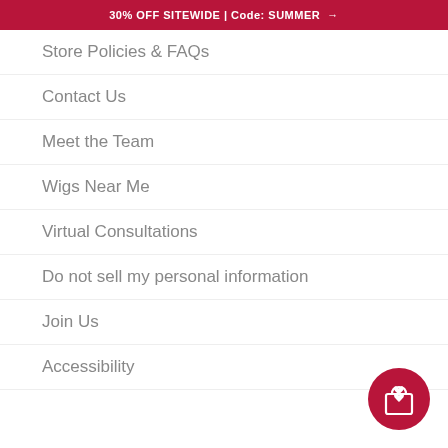30% OFF SITEWIDE | Code: SUMMER →
Store Policies & FAQs
Contact Us
Meet the Team
Wigs Near Me
Virtual Consultations
Do not sell my personal information
Join Us
Accessibility
[Figure (illustration): Pink/crimson circular shopping bag with heart icon button in bottom-right corner]